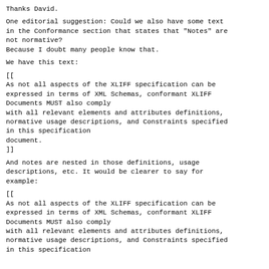Thanks David.
One editorial suggestion: Could we also have some text in the Conformance section that states that "Notes" are not normative?
Because I doubt many people know that.
We have this text:
[[
As not all aspects of the XLIFF specification can be expressed in terms of XML Schemas, conformant XLIFF Documents MUST also comply
with all relevant elements and attributes definitions, normative usage descriptions, and Constraints specified in this specification
document.
]]
And notes are nested in those definitions, usage descriptions, etc. It would be clearer to say for example:
[[
As not all aspects of the XLIFF specification can be expressed in terms of XML Schemas, conformant XLIFF Documents MUST also comply
with all relevant elements and attributes definitions, normative usage descriptions, and Constraints specified in this specification
document.